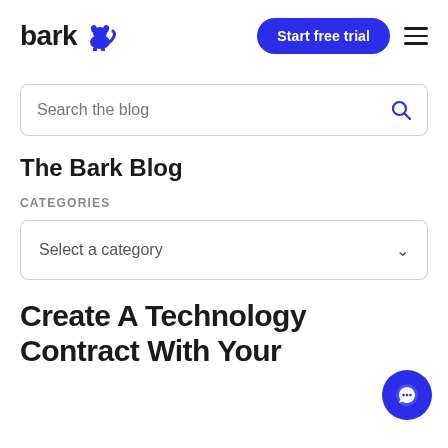bark [logo] | Start free trial | [hamburger menu]
Search the blog
The Bark Blog
CATEGORIES
Select a category
Create A Technology Contract With Your